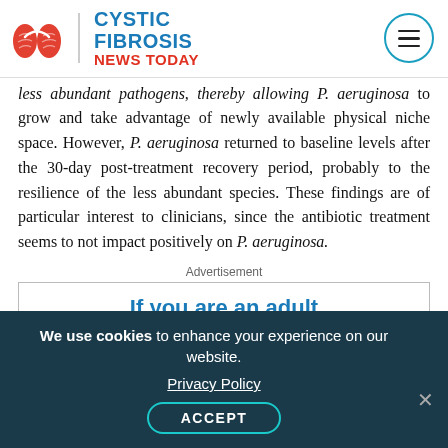Cystic Fibrosis News Today
less abundant pathogens, thereby allowing P. aeruginosa to grow and take advantage of newly available physical niche space. However, P. aeruginosa returned to baseline levels after the 30-day post-treatment recovery period, probably to the resilience of the less abundant species. These findings are of particular interest to clinicians, since the antibiotic treatment seems to not impact positively on P. aeruginosa.
Advertisement
[Figure (other): Advertisement: If you are an adult with cystic fibrosis...]
We use cookies to enhance your experience on our website. Privacy Policy ACCEPT